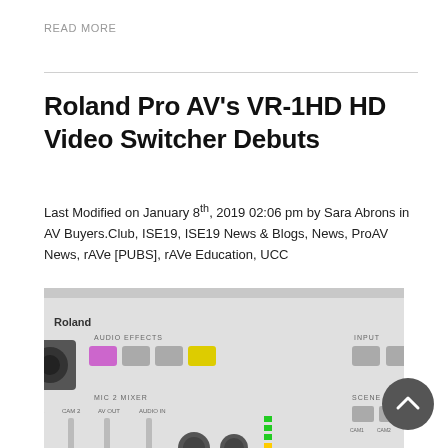READ MORE
Roland Pro AV's VR-1HD HD Video Switcher Debuts
Last Modified on January 8th, 2019 02:06 pm by Sara Abrons in AV Buyers.Club, ISE19, ISE19 News & Blogs, News, ProAV News, rAVe [PUBS], rAVe Education, UCC
[Figure (photo): Roland Pro AV VR-1HD HD Video Switcher device, top-down view showing audio faders, mix effects buttons, camera input selectors, and ON AIR button on a light gray panel]